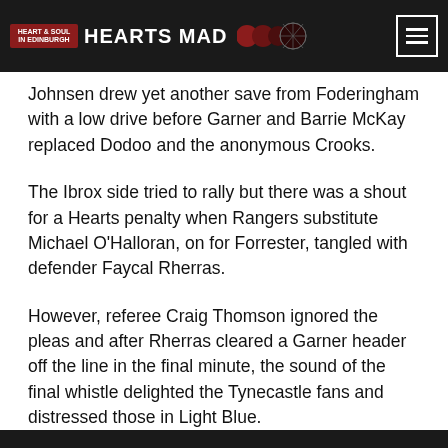HEARTS MAD
Johnsen drew yet another save from Foderingham with a low drive before Garner and Barrie McKay replaced Dodoo and the anonymous Crooks.
The Ibrox side tried to rally but there was a shout for a Hearts penalty when Rangers substitute Michael O'Halloran, on for Forrester, tangled with defender Faycal Rherras.
However, referee Craig Thomson ignored the pleas and after Rherras cleared a Garner header off the line in the final minute, the sound of the final whistle delighted the Tynecastle fans and distressed those in Light Blue.
Source : PA